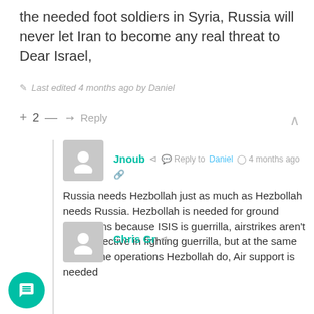the needed foot soldiers in Syria, Russia will never let Iran to become any real threat to Dear Israel,
Last edited 4 months ago by Daniel
+ 2 — → Reply
Jnoub  Reply to Daniel  4 months ago
Russia needs Hezbollah just as much as Hezbollah needs Russia. Hezbollah is needed for ground operations because ISIS is guerrilla, airstrikes aren't really effective in fighting guerrilla, but at the same time some operations Hezbollah do, Air support is needed
+ 3 — → Reply
Chris Gr